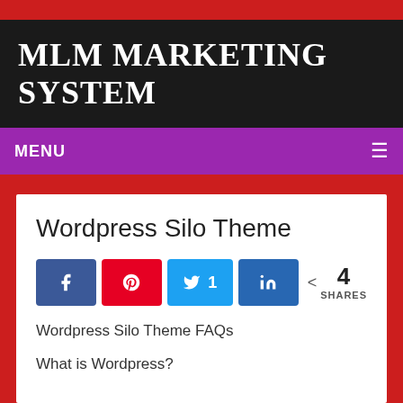MLM MARKETING SYSTEM
MENU
Wordpress Silo Theme
[Figure (screenshot): Social share buttons: Facebook (k), Pinterest (A with pin icon), Twitter (1 share), LinkedIn (in), and share count showing 4 SHARES]
Wordpress Silo Theme FAQs
What is Wordpress?